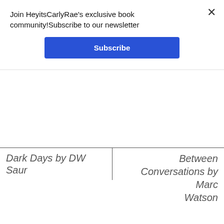Join HeyitsCarlyRae's exclusive book community!Subscribe to our newsletter
Subscribe
Dark Days by DW Saur
Between Conversations by Marc Watson